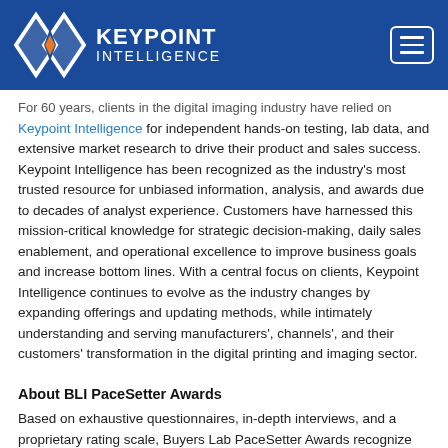Keypoint Intelligence
For 60 years, clients in the digital imaging industry have relied on Keypoint Intelligence for independent hands-on testing, lab data, and extensive market research to drive their product and sales success. Keypoint Intelligence has been recognized as the industry's most trusted resource for unbiased information, analysis, and awards due to decades of analyst experience. Customers have harnessed this mission-critical knowledge for strategic decision-making, daily sales enablement, and operational excellence to improve business goals and increase bottom lines. With a central focus on clients, Keypoint Intelligence continues to evolve as the industry changes by expanding offerings and updating methods, while intimately understanding and serving manufacturers', channels', and their customers' transformation in the digital printing and imaging sector.
About BLI PaceSetter Awards
Based on exhaustive questionnaires, in-depth interviews, and a proprietary rating scale, Buyers Lab PaceSetter Awards recognize